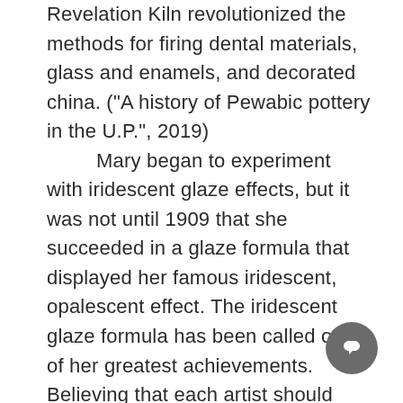Revelation Kiln revolutionized the methods for firing dental materials, glass and enamels, and decorated china. ("A history of Pewabic pottery in the U.P.", 2019)
	Mary began to experiment with iridescent glaze effects, but it was not until 1909 that she succeeded in a glaze formula that displayed her famous iridescent, opalescent effect. The iridescent glaze formula has been called one of her greatest achievements. Believing that each artist should create something new of their own, this formula was never shared and was lost with her death. ("A history of Pewabic pottery in the U.P.", 2019) Today, artists at Detroit's Pewabic